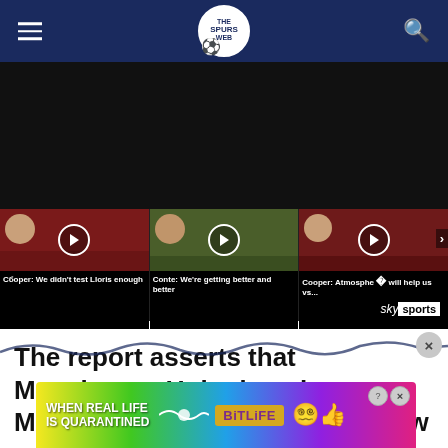The Spurs Web
[Figure (screenshot): Video player showing dark/black screen with thumbnail strip below containing three video thumbnails: 'Cooper: We didn't test Lloris enough', 'Conte: We're getting better and better', 'Cooper: Atmosphere will help us vs...' with Sky Sports branding]
The report asserts that Manchester United are keen on Mamardashvili but Spurs are now set to the Red Devils.
[Figure (photo): BitLife advertisement banner: 'WHEN REAL LIFE IS QUARANTINED' with BitLife logo and colorful characters]